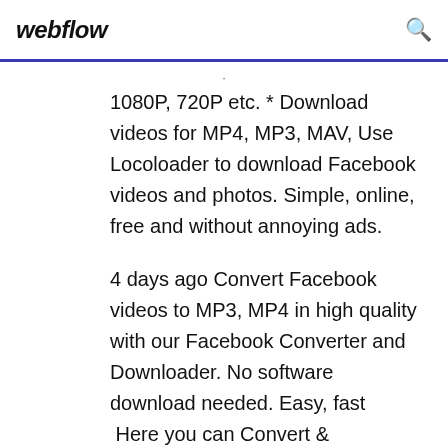webflow
1080P, 720P etc. * Download videos for MP4, MP3, MAV, Use Locoloader to download Facebook videos and photos. Simple, online, free and without annoying ads.
4 days ago Convert Facebook videos to MP3, MP4 in high quality with our Facebook Converter and Downloader. No software download needed. Easy, fast  Here you can Convert & Download Facebook videos to MP3 MP4 in HD or at the best quality. Safe Converter allows you to convert & download unlimited free  Facebook Video Downloader - Save Facebook videos Online directly without any